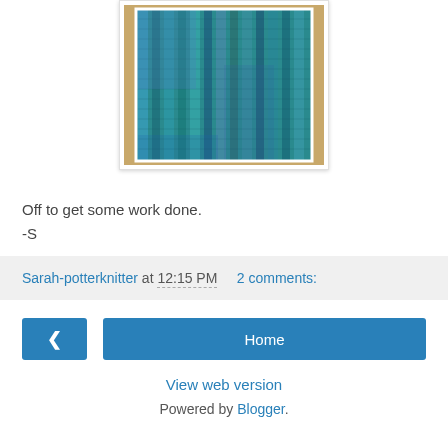[Figure (photo): A knitted or woven textile swatch in blue and teal/green colors, laid on a tan/beige surface. The fabric shows vertical ribbing or column texture.]
Off to get some work done.
-S
Sarah-potterknitter at 12:15 PM   2 comments:
< Home
View web version
Powered by Blogger.